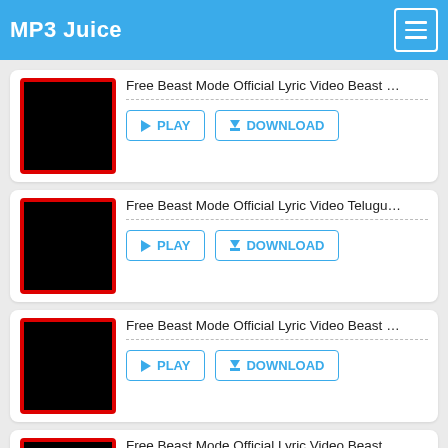MP3 Juice
[Figure (screenshot): Music result card 1: thumbnail (black square with red border), title 'Free Beast Mode Official Lyric Video Beast …', PLAY and DOWNLOAD buttons]
[Figure (screenshot): Music result card 2: thumbnail (black square with red border), title 'Free Beast Mode Official Lyric Video Telugu…', PLAY and DOWNLOAD buttons]
[Figure (screenshot): Music result card 3: thumbnail (black square with red border), title 'Free Beast Mode Official Lyric Video Beast …', PLAY and DOWNLOAD buttons]
[Figure (screenshot): Music result card 4 (partial): thumbnail (black square with red border), title 'Free Beast Mode Official Lyric Video Beast …', PLAY and DOWNLOAD buttons]